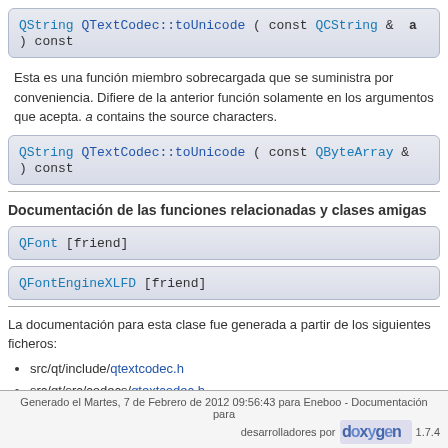QString QTextCodec::toUnicode ( const QCString & a ) const
Esta es una función miembro sobrecargada que se suministra por conveniencia. Difiere de la anterior función solamente en los argumentos que acepta. a contains the source characters.
QString QTextCodec::toUnicode ( const QByteArray & ) const
Documentación de las funciones relacionadas y clases amigas
QFont [friend]
QFontEngineXLFD [friend]
La documentación para esta clase fue generada a partir de los siguientes ficheros:
src/qt/include/qtextcodec.h
src/qt/src/codecs/qtextcodec.h
src/qt/src/codecs/qtextcodec.cpp
Generado el Martes, 7 de Febrero de 2012 09:56:43 para Eneboo - Documentación para desarrolladores por doxygen 1.7.4